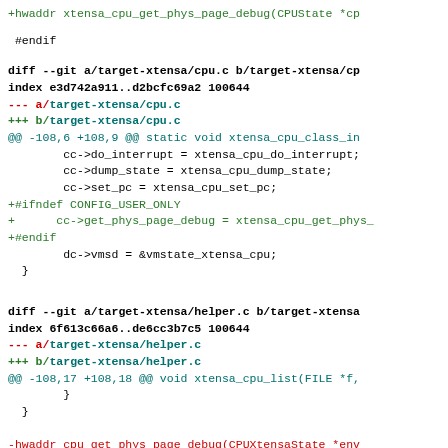+hwaddr xtensa_cpu_get_phys_page_debug(CPUState *cp
#endif
diff --git a/target-xtensa/cpu.c b/target-xtensa/cp
index e3d742a911..d2bcfc69a2 100644
--- a/target-xtensa/cpu.c
+++ b/target-xtensa/cpu.c
@@ -108,6 +108,9 @@ static void xtensa_cpu_class_in
        cc->do_interrupt = xtensa_cpu_do_interrupt;
        cc->dump_state = xtensa_cpu_dump_state;
        cc->set_pc = xtensa_cpu_set_pc;
+#ifndef CONFIG_USER_ONLY
+      cc->get_phys_page_debug = xtensa_cpu_get_phys_
+#endif
        dc->vmsd = &vmstate_xtensa_cpu;
  }
diff --git a/target-xtensa/helper.c b/target-xtensa
index 6f613c66a6..de6cc3b7c5 100644
--- a/target-xtensa/helper.c
+++ b/target-xtensa/helper.c
@@ -108,17 +108,18 @@ void xtensa_cpu_list(FILE *f,
        }
  }

-hwaddr cpu_get_phys_page_debug(CPUXtensaState *env
+hwaddr xtensa_cpu_get_phys_page_debug(CPUState *cs
  {